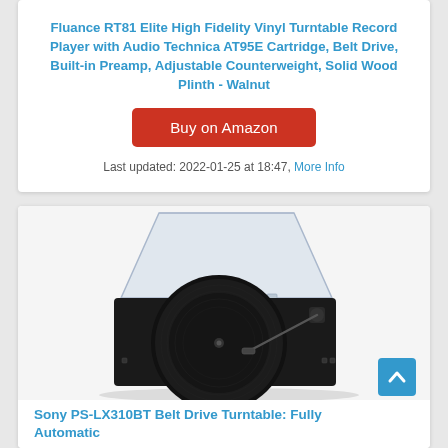Fluance RT81 Elite High Fidelity Vinyl Turntable Record Player with Audio Technica AT95E Cartridge, Belt Drive, Built-in Preamp, Adjustable Counterweight, Solid Wood Plinth - Walnut
Buy on Amazon
Last updated: 2022-01-25 at 18:47, More Info
[Figure (photo): Sony PS-LX310BT belt drive turntable record player shown from a front-angle view with dust cover open, black finish, on white background]
Sony PS-LX310BT Belt Drive Turntable: Fully Automatic